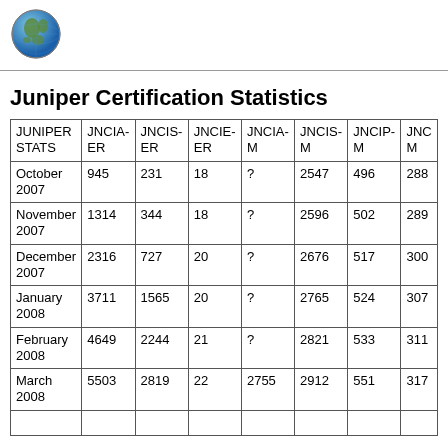[Figure (logo): Globe icon representing an internet/web logo]
Juniper Certification Statistics
| JUNIPER STATS | JNCIA-ER | JNCIS-ER | JNCIE-ER | JNCIA-M | JNCIS-M | JNCIP-M | JNCI-M |
| --- | --- | --- | --- | --- | --- | --- | --- |
| October 2007 | 945 | 231 | 18 | ? | 2547 | 496 | 288 |
| November 2007 | 1314 | 344 | 18 | ? | 2596 | 502 | 289 |
| December 2007 | 2316 | 727 | 20 | ? | 2676 | 517 | 300 |
| January 2008 | 3711 | 1565 | 20 | ? | 2765 | 524 | 307 |
| February 2008 | 4649 | 2244 | 21 | ? | 2821 | 533 | 311 |
| March 2008 | 5503 | 2819 | 22 | 2755 | 2912 | 551 | 317 |